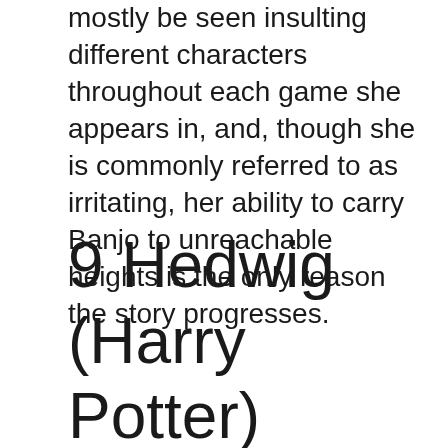mostly be seen insulting different characters throughout each game she appears in, and, though she is commonly referred to as irritating, her ability to carry Banjo to unreachable heights is the only reason the story progresses.
9 Hedwig (Harry Potter)